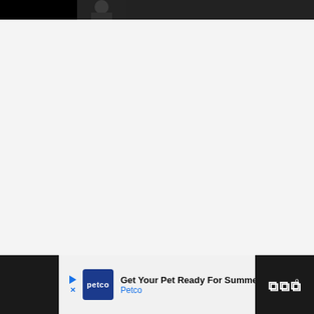[Figure (photo): Partial black and white photo strip at top of page showing a figure in dark clothing against a dark background]
[Figure (screenshot): Advertisement banner at the bottom: Petco ad reading 'Get Your Pet Ready For Summe' with Petco logo and navigation arrow, flanked by dark bars with a W degree symbol on the right]